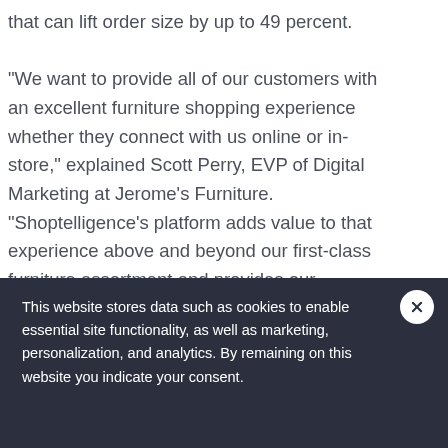that can lift order size by up to 49 percent.

“We want to provide all of our customers with an excellent furniture shopping experience whether they connect with us online or in-store,” explained Scott Perry, EVP of Digital Marketing at Jerome’s Furniture. “Shoptelligence’s platform adds value to that experience above and beyond our first-class furniture assortment and provides our consumers and sales associates a rich merchandising experience to help customers
This website stores data such as cookies to enable essential site functionality, as well as marketing, personalization, and analytics. By remaining on this website you indicate your consent.